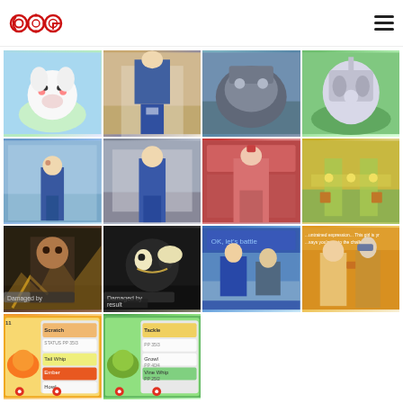COG logo and navigation menu
[Figure (screenshot): Pokemon white fluffy creature (Swirlix/Snubbull) on blue/green background]
[Figure (screenshot): Pokemon trainer character standing in building interior]
[Figure (screenshot): Dark grey Pokemon (Tyranitar) on blue landscape background]
[Figure (screenshot): Silver/white legendary Pokemon (Mewtwo/Genesect) on green background]
[Figure (screenshot): Male player character on town road with trees]
[Figure (screenshot): Male trainer standing in town/city street]
[Figure (screenshot): Female character in red in shop/building interior]
[Figure (screenshot): Top-down RPG view of trainers in park area with Pikachus]
[Figure (screenshot): Dark battle scene with trainer character and gold pattern overlay]
[Figure (screenshot): Dark battle scene with blonde female trainer and panda Pokemon]
[Figure (screenshot): Battle dialogue scene: OK, let's battle]
[Figure (screenshot): Battle dialogue with female trainer and text about challenge]
[Figure (screenshot): Battle move selection screen with Fennekin showing moves: Scratch, Tail Whip, Ember, Howl]
[Figure (screenshot): Battle move selection screen with Chespin showing moves: Tackle, Growl, Vine Whip]
[Figure (screenshot): Empty space]
[Figure (screenshot): Empty space]